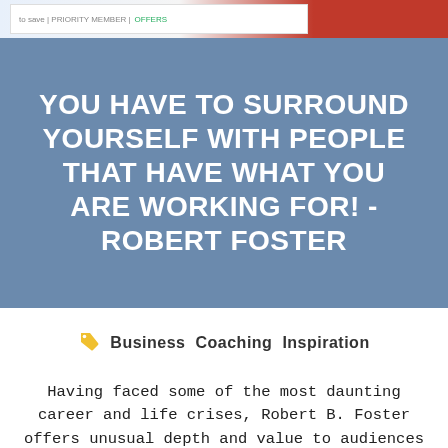[Figure (illustration): Banner image at top with white box containing small text and a red/pink section on the right side]
YOU HAVE TO SURROUND YOURSELF WITH PEOPLE THAT HAVE WHAT YOU ARE WORKING FOR! - ROBERT FOSTER
Business   Coaching   Inspiration
Having faced some of the most daunting career and life crises, Robert B. Foster offers unusual depth and value to audiences hungry for personal growth. Despite a knee injury at the age of thirty-four and being told he'd never run or jump